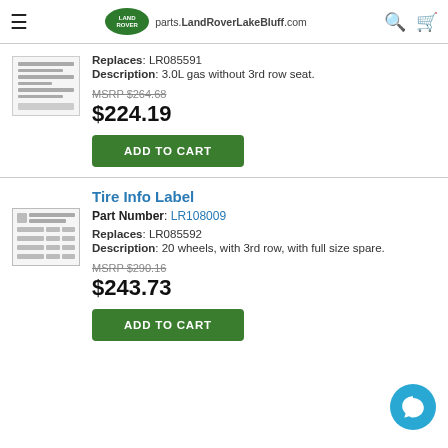parts.LandRoverLakeBluff.com
Replaces: LR085591
Description: 3.0L gas without 3rd row seat.
MSRP $264.68
$224.19
ADD TO CART
Tire Info Label
Part Number: LR108009
Replaces: LR085592
Description: 20 wheels, with 3rd row, with full size spare.
MSRP $290.16
$243.73
ADD TO CART